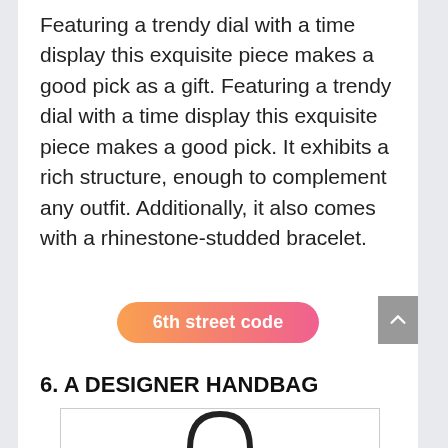Featuring a trendy dial with a time display this exquisite piece makes a good pick as a gift. Featuring a trendy dial with a time display this exquisite piece makes a good pick. It exhibits a rich structure, enough to complement any outfit. Additionally, it also comes with a rhinestone-studded bracelet.
6th street code
6. A DESIGNER HANDBAG
[Figure (photo): Partial image of a designer handbag, showing the top arch/handle of a dark-colored bag against a white background inside a bordered rectangle.]